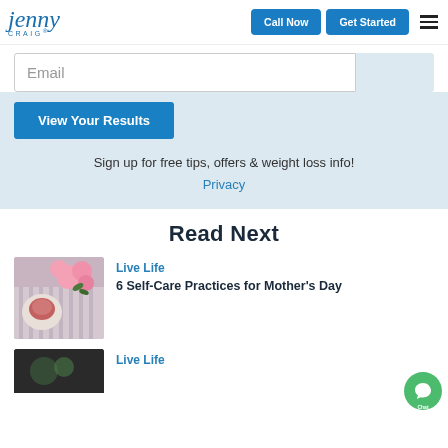Jenny Craig | Call Now | Get Started
Email
View Your Results
Sign up for free tips, offers & weight loss info!
Privacy
Read Next
Live Life
6 Self-Care Practices for Mother's Day
[Figure (photo): Pink flowers and dessert on a striped cloth, article thumbnail for Mother's Day article]
Live Life